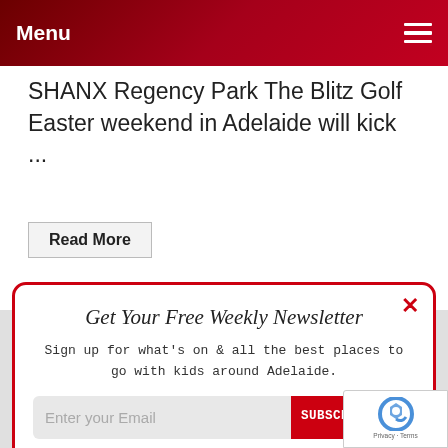Menu
SHANX Regency Park The Blitz Golf Easter weekend in Adelaide will kick ...
Read More
Get Your Free Weekly Newsletter
Sign up for what's on & all the best places to go with kids around Adelaide.
Enter your Email   SUBSCRIBE NOW
NO THANKS